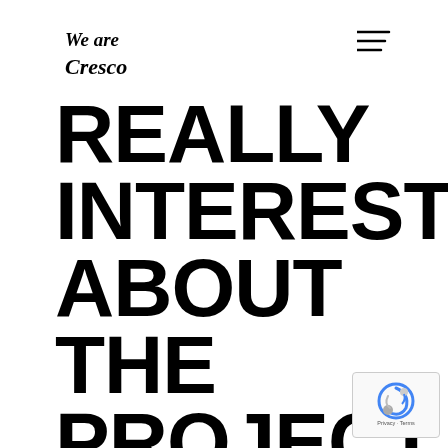[Figure (logo): We are Cresco handwritten script logo in italic cursive font]
REALLY INTERESTING ABOUT THE PROJECT
[Figure (other): reCAPTCHA badge with Google reCAPTCHA logo, Privacy and Terms links]